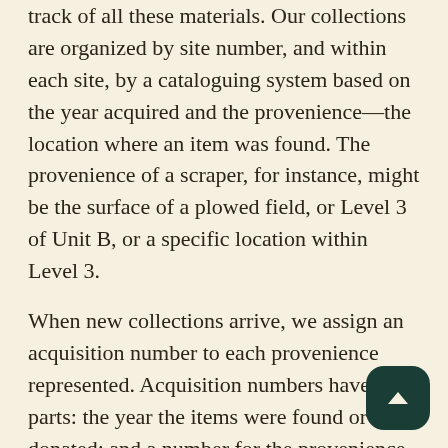track of all these materials. Our collections are organized by site number, and within each site, by a cataloguing system based on the year acquired and the provenience—the location where an item was found. The provenience of a scraper, for instance, might be the surface of a plowed field, or Level 3 of Unit B, or a specific location within Level 3.
When new collections arrive, we assign an acquisition number to each provenience represented. Acquisition numbers have two parts: the year the items were found or donated; and a number for the provenience. For example, the first artifacts we receive in 2022 might be from a plowed field at site X. A surface scatter might be a single provenience that gets one acquisition number: 2022.0001. Two distinct concentrations on adjacent localities could become two proveniences, and two acquisition numbers...